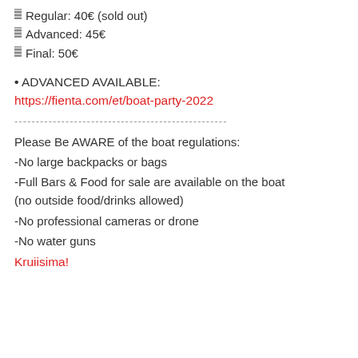Regular: 40€ (sold out)
Advanced: 45€
Final: 50€
• ADVANCED AVAILABLE:
https://fienta.com/et/boat-party-2022
----------------------------------------------------
Please Be AWARE of the boat regulations:
-No large backpacks or bags
-Full Bars & Food for sale are available on the boat (no outside food/drinks allowed)
-No professional cameras or drone
-No water guns
Kruiisima!